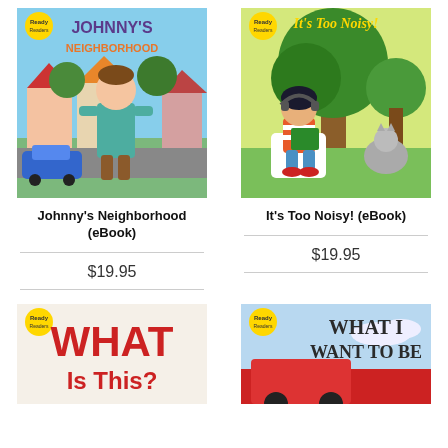[Figure (illustration): Book cover: Johnny's Neighborhood (eBook) - cartoon boy in teal shirt standing in front of houses, blue car, with yellow badge in top left corner]
Johnny's Neighborhood (eBook)
$19.95
[Figure (illustration): Book cover: It's Too Noisy! (eBook) - girl with headphones reading under a tree with a cat nearby, yellow badge in top left corner]
It's Too Noisy! (eBook)
$19.95
[Figure (illustration): Book cover: What Is This? - partial view showing red bold text 'WHAT Is This?' on white/tan background, yellow badge in top left corner]
[Figure (illustration): Book cover: What I Want To Be - partial view showing fire truck scene with bold text 'WHAT I WANT TO BE', yellow badge in top left corner]